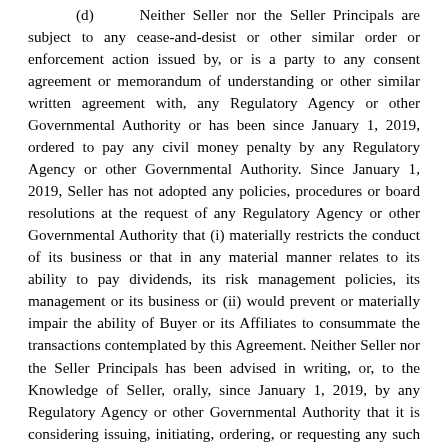(d) Neither Seller nor the Seller Principals are subject to any cease-and-desist or other similar order or enforcement action issued by, or is a party to any consent agreement or memorandum of understanding or other similar written agreement with, any Regulatory Agency or other Governmental Authority or has been since January 1, 2019, ordered to pay any civil money penalty by any Regulatory Agency or other Governmental Authority. Since January 1, 2019, Seller has not adopted any policies, procedures or board resolutions at the request of any Regulatory Agency or other Governmental Authority that (i) materially restricts the conduct of its business or that in any material manner relates to its ability to pay dividends, its risk management policies, its management or its business or (ii) would prevent or materially impair the ability of Buyer or its Affiliates to consummate the transactions contemplated by this Agreement. Neither Seller nor the Seller Principals has been advised in writing, or, to the Knowledge of Seller, orally, since January 1, 2019, by any Regulatory Agency or other Governmental Authority that it is considering issuing, initiating, ordering, or requesting any such regulatory agreement.
(e) Neither Seller nor any of Seller's members, managers, officers, employees, representatives or agents (i) has violated, has caused other Persons to be in violation of, is currently